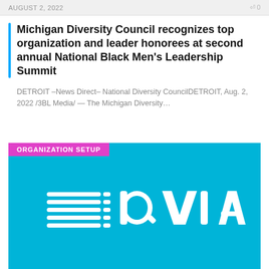AUGUST 2, 2022    0
Michigan Diversity Council recognizes top organization and leader honorees at second annual National Black Men's Leadership Summit
DETROIT –News Direct– National Diversity CouncilDETROIT, Aug. 2, 2022 /3BL Media/ — The Michigan Diversity…
[Figure (logo): IQVIA company logo (white text on cyan/blue background) with 'ORGANIZATION SETUP' pink badge overlaid in top-left corner]